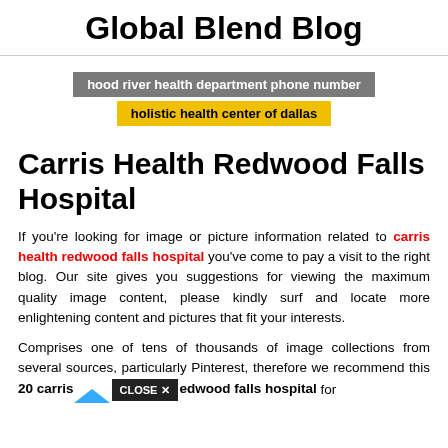Global Blend Blog
hood river health department phone number
holistic health center of dallas
Carris Health Redwood Falls Hospital
If you're looking for image or picture information related to carris health redwood falls hospital you've come to pay a visit to the right blog. Our site gives you suggestions for viewing the maximum quality image content, please kindly surf and locate more enlightening content and pictures that fit your interests.
Comprises one of tens of thousands of image collections from several sources, particularly Pinterest, therefore we recommend this 20 carris health redwood falls hospital for